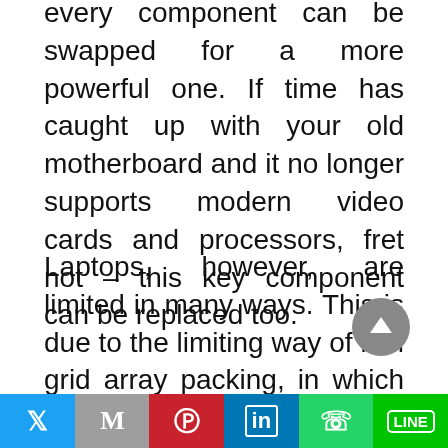every component can be swapped for a more powerful one. If time has caught up with your old motherboard and it no longer supports modern video cards and processors, fret not – this key component can be replaced too.
Laptops, however, are limited in many ways. This is due to the limiting way of ball grid array packing, in which case a processor is an integral part of the motherboard and thus cannot be removed. The same goes for many